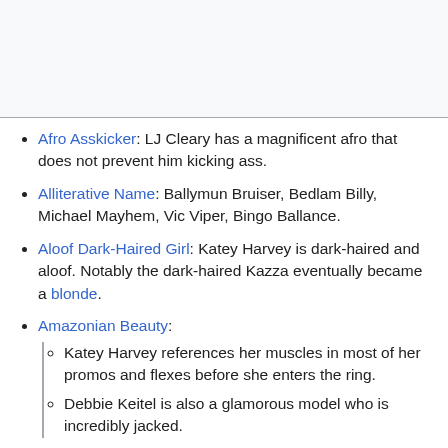[Figure (other): Gray header/image area at top of Wikipedia-style page]
Afro Asskicker: LJ Cleary has a magnificent afro that does not prevent him kicking ass.
Alliterative Name: Ballymun Bruiser, Bedlam Billy, Michael Mayhem, Vic Viper, Bingo Ballance.
Aloof Dark-Haired Girl: Katey Harvey is dark-haired and aloof. Notably the dark-haired Kazza eventually became a blonde.
Amazonian Beauty:
Katey Harvey references her muscles in most of her promos and flexes before she enters the ring.
Debbie Keitel is also a glamorous model who is incredibly jacked.